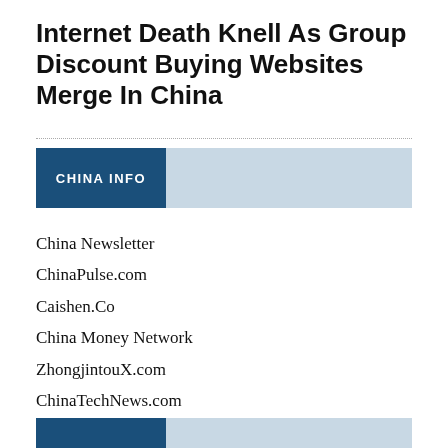Internet Death Knell As Group Discount Buying Websites Merge In China
CHINA INFO
China Newsletter
ChinaPulse.com
Caishen.Co
China Money Network
ZhongjintouX.com
ChinaTechNews.com
China Retail News